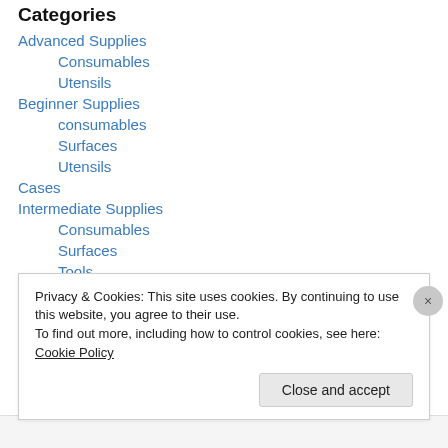Categories
Advanced Supplies
Consumables
Utensils
Beginner Supplies
consumables
Surfaces
Utensils
Cases
Intermediate Supplies
Consumables
Surfaces
Tools
Privacy & Cookies: This site uses cookies. By continuing to use this website, you agree to their use. To find out more, including how to control cookies, see here: Cookie Policy
Close and accept